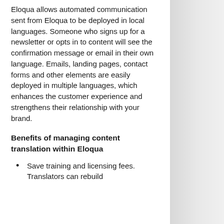Eloqua allows automated communication sent from Eloqua to be deployed in local languages. Someone who signs up for a newsletter or opts in to content will see the confirmation message or email in their own language. Emails, landing pages, contact forms and other elements are easily deployed in multiple languages, which enhances the customer experience and strengthens their relationship with your brand.
Benefits of managing content translation within Eloqua
Save training and licensing fees. Translators can rebuild